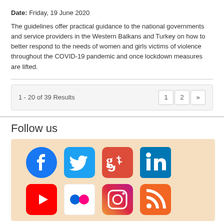Date: Friday, 19 June 2020
The guidelines offer practical guidance to the national governments and service providers in the Western Balkans and Turkey on how to better respond to the needs of women and girls victims of violence throughout the COVID-19 pandemic and once lockdown measures are lifted.
1 - 20 of 39 Results
Follow us
[Figure (infographic): Social media icons grid on peach/tan background: Facebook, Twitter, Google+, LinkedIn (top row); YouTube, Flickr, Instagram, RSS (bottom row, partially visible)]